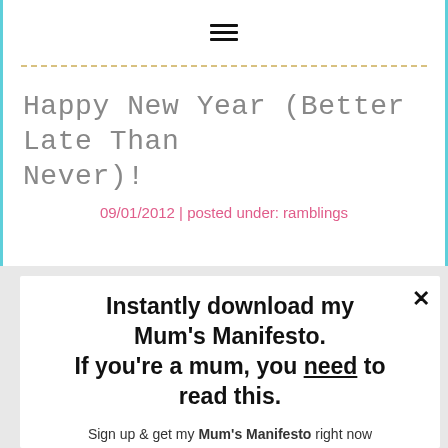[Figure (other): Hamburger menu icon (three horizontal lines)]
Happy New Year (better late than never)!
09/01/2012 | posted under: ramblings
Instantly download my Mum's Manifesto. If you're a mum, you need to read this.
Sign up & get my Mum's Manifesto right now